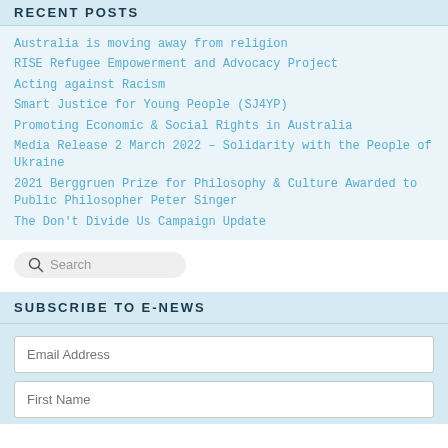RECENT POSTS
Australia is moving away from religion
RISE Refugee Empowerment and Advocacy Project
Acting against Racism
Smart Justice for Young People (SJ4YP)
Promoting Economic & Social Rights in Australia
Media Release 2 March 2022 – Solidarity with the People of Ukraine
2021 Berggruen Prize for Philosophy & Culture Awarded to Public Philosopher Peter Singer
The Don't Divide Us Campaign Update
[Figure (other): Search box with magnifying glass icon and placeholder text 'Search']
SUBSCRIBE TO E-NEWS
Email Address
First Name